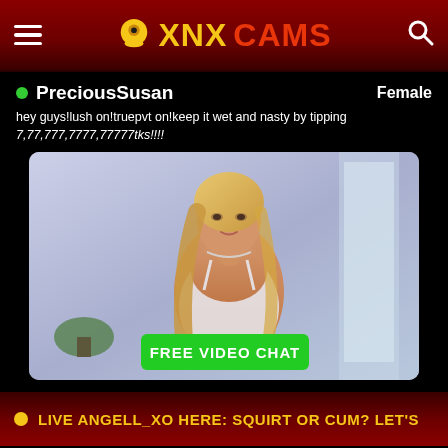XNX CAMS
PreciousSusan — Female
hey guys!lush on!truepvt on!keep it wet and nasty by tipping 7,77,777,7777,77777tks!!!!
[Figure (screenshot): Live webcam feed of a blonde woman in white lingerie, with a green FREE VIDEO CHAT button overlay at the bottom]
LIVE ANGELL_XO HERE: SQUIRT OR CUM? LET'S